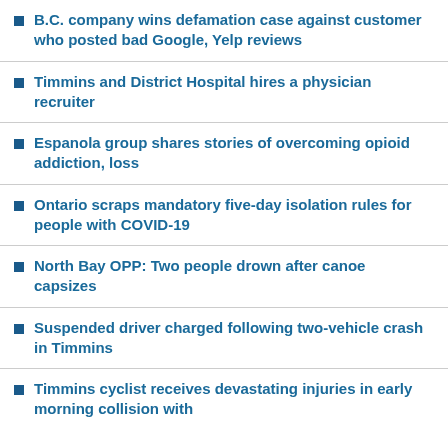B.C. company wins defamation case against customer who posted bad Google, Yelp reviews
Timmins and District Hospital hires a physician recruiter
Espanola group shares stories of overcoming opioid addiction, loss
Ontario scraps mandatory five-day isolation rules for people with COVID-19
North Bay OPP: Two people drown after canoe capsizes
Suspended driver charged following two-vehicle crash in Timmins
Timmins cyclist receives devastating injuries in early morning collision with